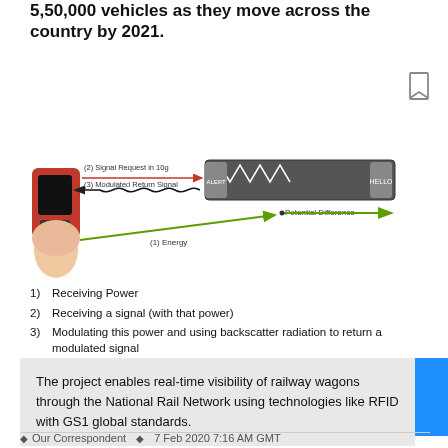5,50,000 vehicles as they move across the country by 2021.
[Figure (schematic): RFID reader diagram showing a handheld scanner emitting signals toward an RFID tag. Labeled: (1) Energy arrow pointing right (green), (2) Signal Request in 10g arrow pointing right toward tag (red), (3) Modulated Return Signal wavy arrow pointing left from tag (black). Tag shows waveform pattern and potential difference.]
Receiving Power
Receiving a signal (with that power)
Modulating this power and using backscatter radiation to return a modulated signal
The project enables real-time visibility of railway wagons through the National Rail Network using technologies like RFID with GS1 global standards.
Our Correspondent   7 Feb 2020 7:16 AM GMT